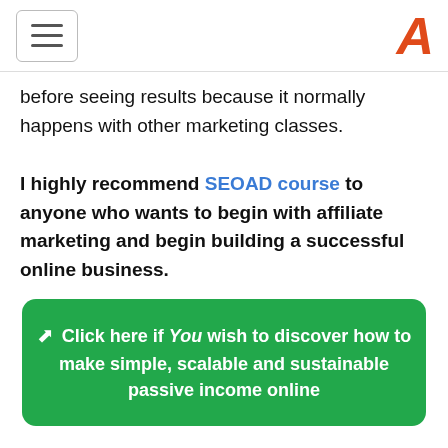[hamburger menu icon] [A logo]
before seeing results because it normally happens with other marketing classes.
I highly recommend SEOAD course to anyone who wants to begin with affiliate marketing and begin building a successful online business.
Click here if You wish to discover how to make simple, scalable and sustainable passive income online